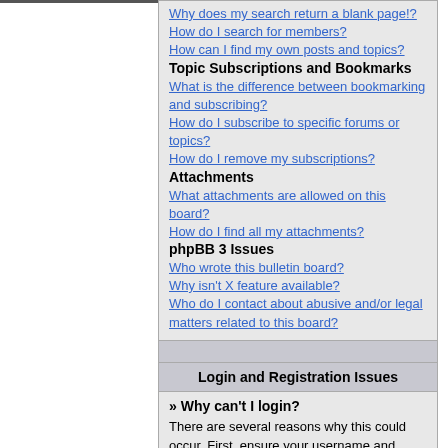Why does my search return a blank page!?
How do I search for members?
How can I find my own posts and topics?
Topic Subscriptions and Bookmarks
What is the difference between bookmarking and subscribing?
How do I subscribe to specific forums or topics?
How do I remove my subscriptions?
Attachments
What attachments are allowed on this board?
How do I find all my attachments?
phpBB 3 Issues
Who wrote this bulletin board?
Why isn't X feature available?
Who do I contact about abusive and/or legal matters related to this board?
Login and Registration Issues
» Why can't I login?
There are several reasons why this could occur. First, ensure your username and password are correct. If they are, contact the board owner to make sure you haven't been banned. It is also possible the website owner